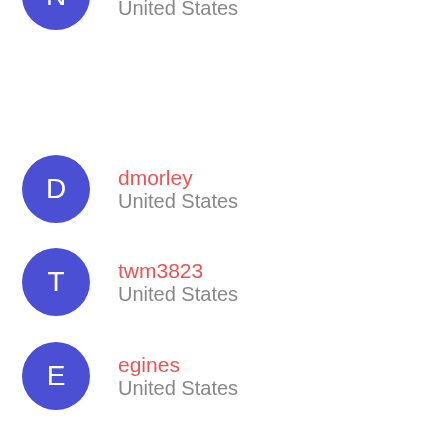nagoll
United States
dmorley
United States
twm3823
United States
egines
United States
razzzz0815
Germany
VeraG
Germany